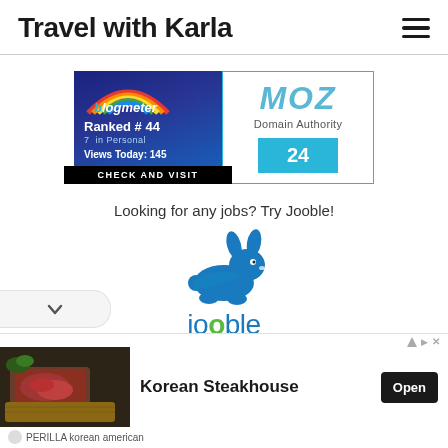Travel with Karla
[Figure (logo): Blogmeter badge: Ranked #44, 7 in Personal, Views Today: 145, CHECK AND VISIT]
[Figure (logo): MOZ Domain Authority badge showing score of 24]
Looking for any jobs? Try Jooble!
[Figure (logo): Jooble logo with rabbit icon and tagline: Jobs for Travel Agent]
[Figure (photo): Korean Steakhouse advertisement with image of raw beef on wooden board]
PERILLA korean american